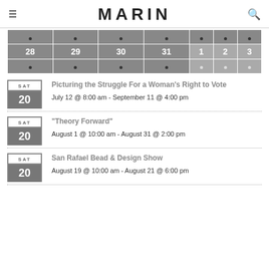MARIN
[Figure (other): Calendar grid showing dates 28, 29, 30, 31, 1, 2, 3 with dot indicators above and below]
SAT 20 — Picturing the Struggle For a Woman's Right to Vote
July 12 @ 8:00 am - September 11 @ 4:00 pm
SAT 20 — "Theory Forward"
August 1 @ 10:00 am - August 31 @ 2:00 pm
SAT 20 — San Rafael Bead & Design Show
August 19 @ 10:00 am - August 21 @ 6:00 pm